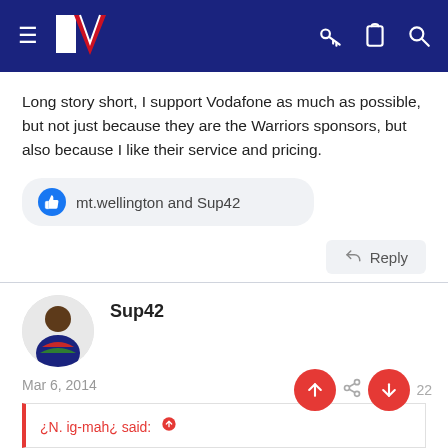NZ Warriors forum header with logo, menu, key, clipboard, and search icons
Long story short, I support Vodafone as much as possible, but not just because they are the Warriors sponsors, but also because I like their service and pricing.
mt.wellington and Sup42
Reply
Sup42
Mar 6, 2014
¿N. ig-mah¿ said: